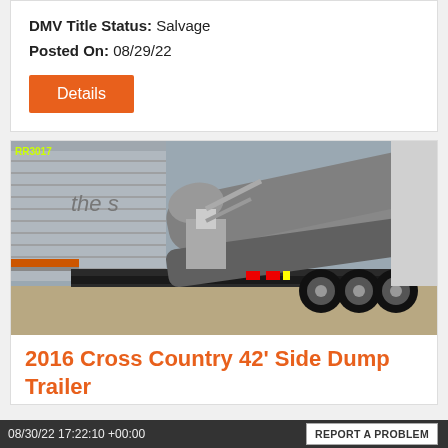DMV Title Status: Salvage
Posted On: 08/29/22
Details
[Figure (photo): Photo of a 2016 Cross Country 42' Side Dump Trailer parked outdoors. The trailer is tilted/dumped to the side showing a silver cylindrical dump body. Photo labeled RR3017 in yellow-green text. Background shows gray metal building and another trailer.]
2016 Cross Country 42' Side Dump Trailer
08/30/22 17:22:10 +00:00  REPORT A PROBLEM